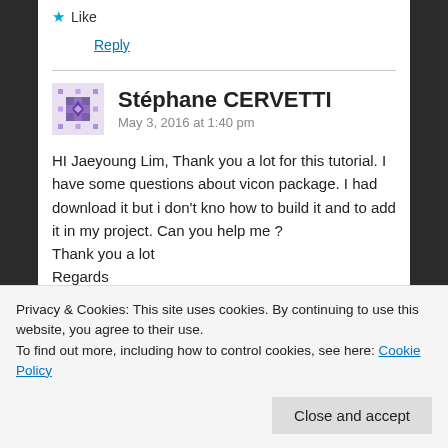★ Like
Reply
Stéphane CERVETTI
May 3, 2016 at 1:40 pm
HI Jaeyoung Lim, Thank you a lot for this tutorial. I have some questions about vicon package. I had download it but i don't kno how to build it and to add it in my project. Can you help me ? Thank you a lot Regards
Privacy & Cookies: This site uses cookies. By continuing to use this website, you agree to their use.
To find out more, including how to control cookies, see here: Cookie Policy
Close and accept